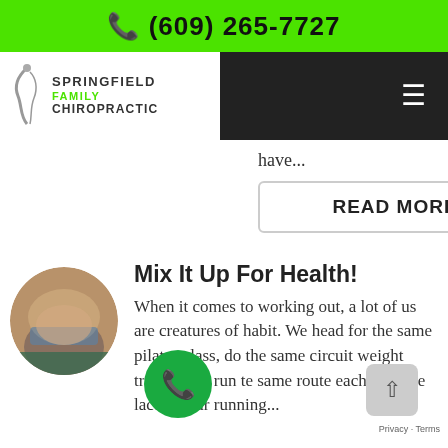☎ (609) 265-7727
[Figure (logo): Springfield Family Chiropractic logo with navigation bar]
have...
READ MORE
Mix It Up For Health!
[Figure (photo): Circular photo of a person doing exercise on a mat]
When it comes to working out, a lot of us are creatures of habit. We head for the same pilates class, do the same circuit weight training, or run the same route each time we lace up our running...